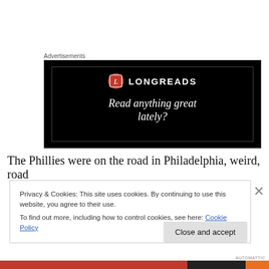Advertisements
[Figure (illustration): Longreads advertisement banner with black background, red circle L logo, LONGREADS text, and tagline 'Read anything great lately?']
The Phillies were on the road in Philadelphia, weird, road
Privacy & Cookies: This site uses cookies. By continuing to use this website, you agree to their use.
To find out more, including how to control cookies, see here: Cookie Policy